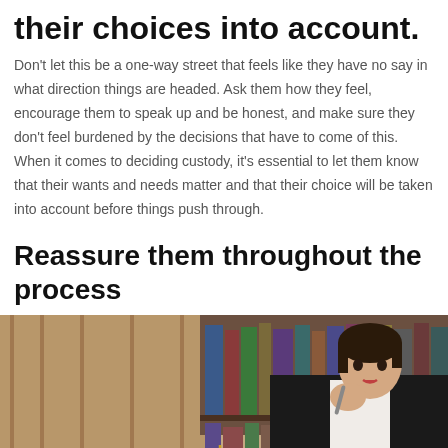their choices into account.
Don't let this be a one-way street that feels like they have no say in what direction things are headed. Ask them how they feel, encourage them to speak up and be honest, and make sure they don't feel burdened by the decisions that have to come of this. When it comes to deciding custody, it's essential to let them know that their wants and needs matter and that their choice will be taken into account before things push through.
Reassure them throughout the process
[Figure (photo): A female lawyer in a black suit sitting at a desk, holding a pen to her chin thoughtfully, with scales of justice and a gavel on the desk, and bookshelves in the background.]